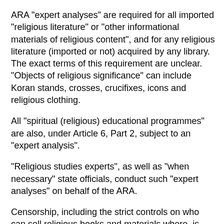ARA "expert analyses" are required for all imported "religious literature" or "other informational materials of religious content", and for any religious literature (imported or not) acquired by any library. The exact terms of this requirement are unclear. "Objects of religious significance" can include Koran stands, crosses, crucifixes, icons and religious clothing.
All "spiritual (religious) educational programmes" are also, under Article 6, Part 2, subject to an "expert analysis".
"Religious studies experts", as well as "when necessary" state officials, conduct such "expert analyses" on behalf of the ARA.
Censorship, including the strict controls on who can sell religious books and materials where, is also dealt with in a separate section below.
Restrictions on where meetings happen